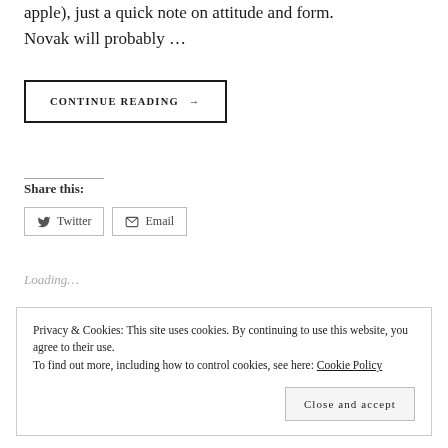apple), just a quick note on attitude and form. Novak will probably …
CONTINUE READING →
Share this:
Twitter
Email
Loading…
Privacy & Cookies: This site uses cookies. By continuing to use this website, you agree to their use. To find out more, including how to control cookies, see here: Cookie Policy
Close and accept